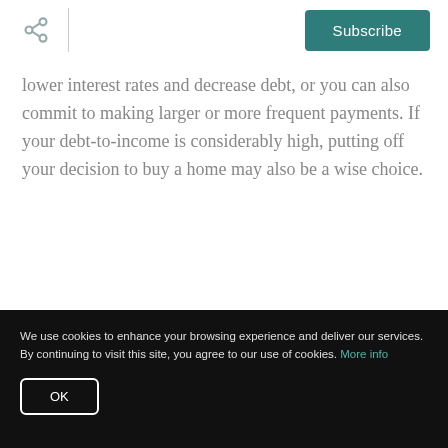Subscribe
lower interest rates and decrease debt, or you can also commit to making larger or more frequent payments. If your debt-to-income is considerably high, putting off your decision to buy a home may also be a wise choice.
Take a Look at Your Mortgage Options
We use cookies to enhance your browsing experience and deliver our services. By continuing to visit this site, you agree to our use of cookies. More info
OK